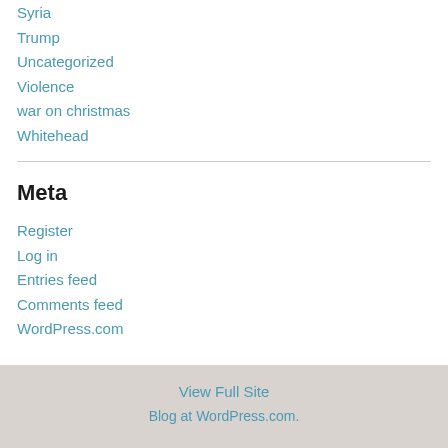Syria
Trump
Uncategorized
Violence
war on christmas
Whitehead
Meta
Register
Log in
Entries feed
Comments feed
WordPress.com
View Full Site
Blog at WordPress.com.